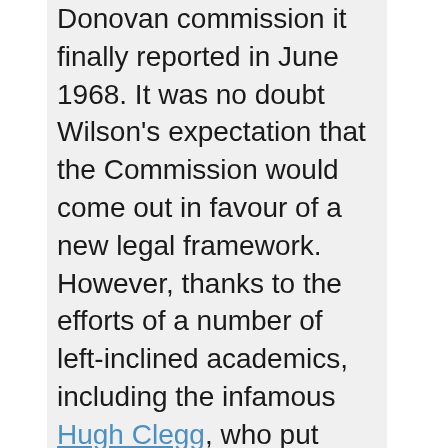Donovan commission it finally reported in June 1968. It was no doubt Wilson's expectation that the Commission would come out in favour of a new legal framework. However, thanks to the efforts of a number of left-inclined academics, including the infamous Hugh Clegg, who put much effort into 'fixing' the result of the commission, the eventual report had little of any value to say. It specifically rejected the principle of pre-strike ballots and its main recommendation was the establishment of a Commission for Industrial Relations which was to have little more than an advisory role in encouraging the adoption of good